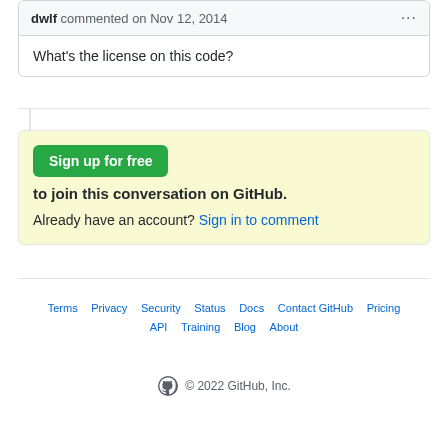dwlf commented on Nov 12, 2014
What's the license on this code?
Sign up for free to join this conversation on GitHub. Already have an account? Sign in to comment
Terms  Privacy  Security  Status  Docs  Contact GitHub  Pricing  API  Training  Blog  About  © 2022 GitHub, Inc.